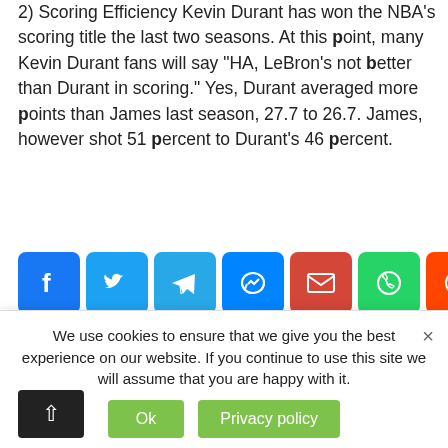2) Scoring Efficiency Kevin Durant has won the NBA's scoring title the last two seasons. At this point, many Kevin Durant fans will say "HA, LeBron's not better than Durant in scoring." Yes, Durant averaged more points than James last season, 27.7 to 26.7. James, however shot 51 percent to Durant's 46 percent.
[Figure (other): Social share buttons row: Facebook (blue), Twitter (blue), Telegram (blue), Messenger (blue), Gmail (red), WhatsApp (green), Reddit (orange), Share/Plus (blue)]
« Previous    Next »
We use cookies to ensure that we give you the best experience on our website. If you continue to use this site we will assume that you are happy with it.